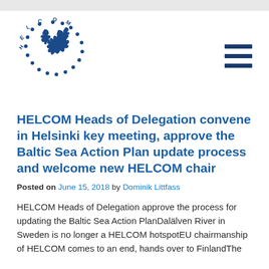[Figure (logo): HELCOM logo: blue silhouette of the Baltic Sea region with dots arranged in a circle and 'HELCOM' text arcing around it]
HELCOM Heads of Delegation convene in Helsinki key meeting, approve the Baltic Sea Action Plan update process and welcome new HELCOM chair
Posted on June 15, 2018 by Dominik Littfass
HELCOM Heads of Delegation approve the process for updating the Baltic Sea Action PlanDalälven River in Sweden is no longer a HELCOM hotspotEU chairmanship of HELCOM comes to an end, hands over to FinlandThe